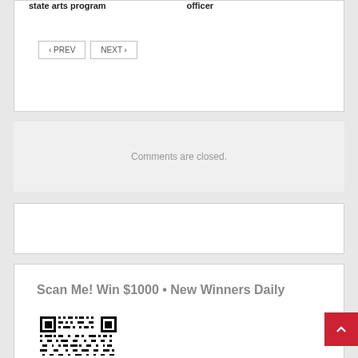state arts program Officer
< PREV   NEXT >
Comments are closed.
[Figure (other): Empty white advertisement box with border]
[Figure (other): Promotional panel: 'Scan Me! Win $1000 • New Winners Daily' with a QR code image below the heading]